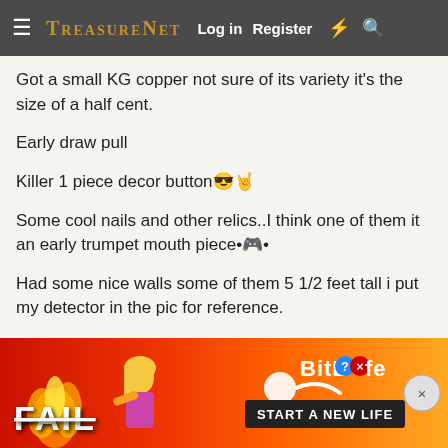TreasureNet  Log in  Register
Got a small KG copper not sure of its variety it's the size of a half cent.
Early draw pull
Killer 1 piece decor button 😎🤙
Some cool nails and other relics..I think one of them it an early trumpet mouth piece 🎺
Had some nice walls some of them 5 1/2 feet tall i put my detector in the pic for reference.
I gotta make sure i leave absolutely no crumbs for those
[Figure (screenshot): BitLife advertisement banner with FAIL text, blonde woman, fire graphics, and 'START A NEW LIFE' tagline]